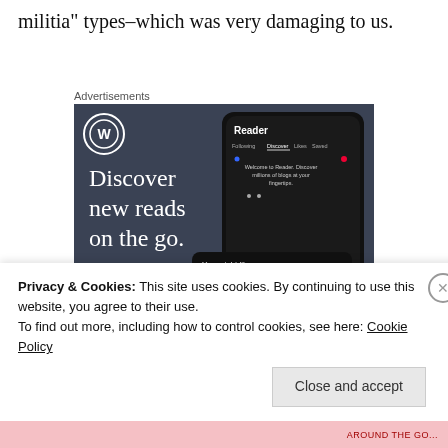militia" types–which was very damaging to us.
Advertisements
[Figure (illustration): WordPress advertisement showing 'Discover new reads on the go.' with a phone mockup of the WordPress Reader app showing Following, Discover, Likes, Saved tabs, and a 'You might like' overlay with Family, Reading, Music tags and 'Around the World with Pam' blog listing.]
Privacy & Cookies: This site uses cookies. By continuing to use this website, you agree to their use.
To find out more, including how to control cookies, see here: Cookie Policy
Close and accept